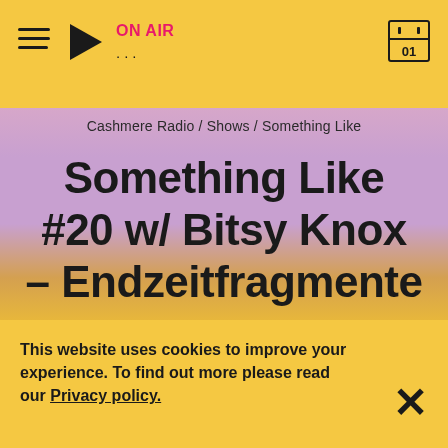[Figure (screenshot): Radio app header bar with hamburger menu, play button, ON AIR label in pink, three dots, and calendar icon with 01]
Cashmere Radio / Shows / Something Like
Something Like #20 w/ Bitsy Knox – Endzeitfragmente
This website uses cookies to improve your experience. To find out more please read our Privacy policy.